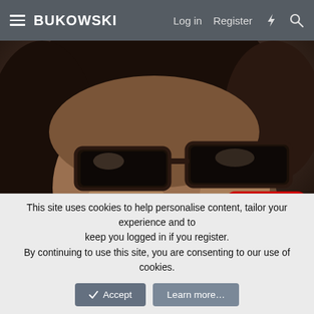BUKOWSKI  Log in  Register
[Figure (photo): Close-up black and white / sepia photo of a man wearing thick-framed dark sunglasses, with a YouTube play button overlay in the lower right area of the image.]
This site uses cookies to help personalise content, tailor your experience and to keep you logged in if you register.
By continuing to use this site, you are consenting to our use of cookies.
✓ Accept   Learn more...